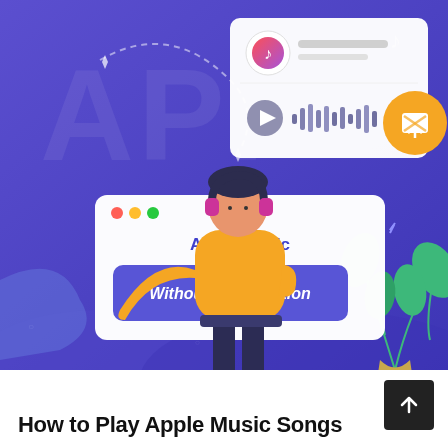[Figure (illustration): Colorful flat illustration on a purple/violet gradient background. A person wearing a yellow shirt, dark pants and headphones stands pointing at a white browser/app window that shows 'Apple Music' in blue text and a purple rounded button labeled 'Without Subscription' in white bold italic text. Behind and above is another white card/window showing an Apple Music interface with the Apple Music logo (music note in red/blue circle), waveform bars, a play button, and an orange circle with a wifi/cast icon. Background has large faint 'APP' text, dashed curved lines, decorative stars/dots, green plant leaves in bottom-right corner, and a blue wave shape in the bottom area.]
How to Play Apple Music Songs